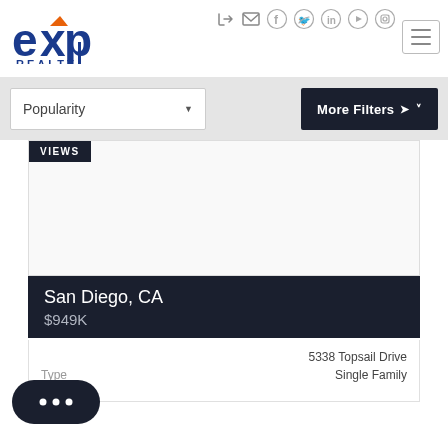[Figure (logo): eXp Realty logo with blue and orange lettering]
Navigation icons: login, mail, facebook, twitter, linkedin, youtube, instagram, hamburger menu
Popularity (sort dropdown) | More Filters
[Figure (screenshot): Property listing card image area with VIEWS badge]
San Diego, CA
$949K
5338 Topsail Drive
Type  Single Family